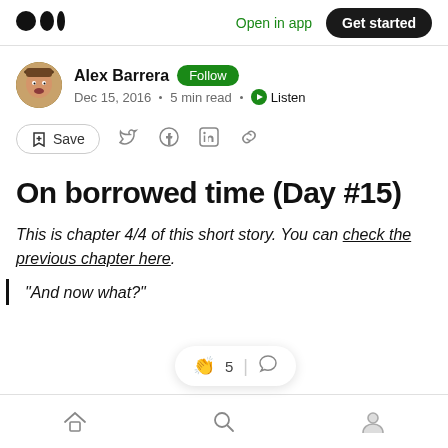Medium logo | Open in app | Get started
Alex Barrera Follow · Dec 15, 2016 · 5 min read · Listen
Save (share icons: Twitter, Facebook, LinkedIn, link)
On borrowed time (Day #15)
This is chapter 4/4 of this short story. You can check the previous chapter here.
“And now what?”
Bottom navigation: Home, Search, Profile